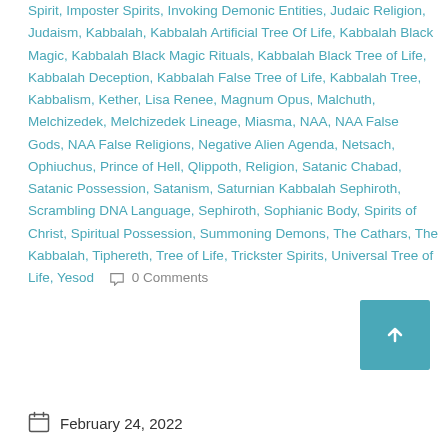Spirit, Imposter Spirits, Invoking Demonic Entities, Judaic Religion, Judaism, Kabbalah, Kabbalah Artificial Tree Of Life, Kabbalah Black Magic, Kabbalah Black Magic Rituals, Kabbalah Black Tree of Life, Kabbalah Deception, Kabbalah False Tree of Life, Kabbalah Tree, Kabbalism, Kether, Lisa Renee, Magnum Opus, Malchuth, Melchizedek, Melchizedek Lineage, Miasma, NAA, NAA False Gods, NAA False Religions, Negative Alien Agenda, Netsach, Ophiuchus, Prince of Hell, Qlippoth, Religion, Satanic Chabad, Satanic Possession, Satanism, Saturnian Kabbalah Sephiroth, Scrambling DNA Language, Sephiroth, Sophianic Body, Spirits of Christ, Spiritual Possession, Summoning Demons, The Cathars, The Kabbalah, Tiphereth, Tree of Life, Trickster Spirits, Universal Tree of Life, Yesod   0 Comments
February 24, 2022